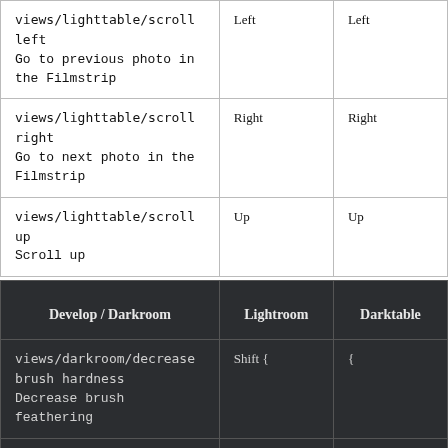|  |  |  |
| --- | --- | --- |
| views/lighttable/scroll left
Go to previous photo in the Filmstrip | Left | Left |
| views/lighttable/scroll right
Go to next photo in the Filmstrip | Right | Right |
| views/lighttable/scroll up
Scroll up | Up | Up |
| Develop / Darkroom | Lightroom | Darktable |
| --- | --- | --- |
| views/darkroom/decrease brush hardness
Decrease brush feathering | Shift { | { |